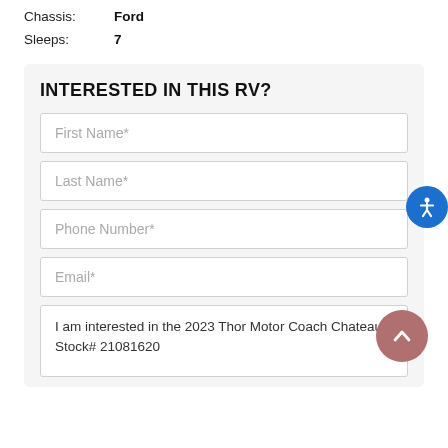Chassis: Ford
Sleeps: 7
INTERESTED IN THIS RV?
First Name*
Last Name*
Phone Number*
Email*
I am interested in the 2023 Thor Motor Coach Chateau. Stock# 21081620